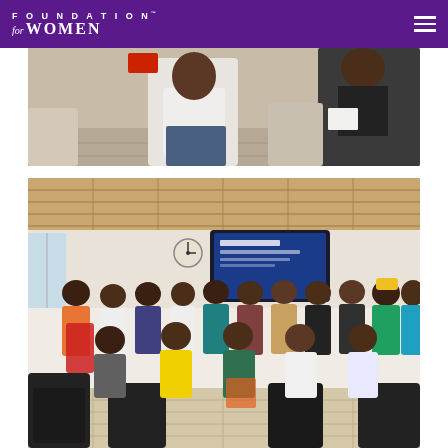FOUNDATION for WOMEN
[Figure (photo): Partial view of people seated in chairs at a workshop or meeting, some holding papers. Cropped at the top.]
[Figure (photo): Group photo of approximately 20 people posing inside a room with a wooden ceiling, a clock on the wall, and a blue presentation screen visible in the background. People are seated in front and standing behind, in colorful attire. Black chairs are visible in the foreground.]